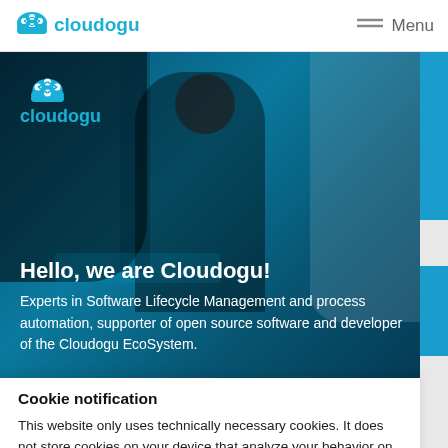cloudogu — Menu
[Figure (screenshot): Cloudogu website hero section with a blue-tinted photo of people working on laptops, the Cloudogu logo (cloud icon + cloudogu text) in the top-left of the hero image, headline 'Hello, we are Cloudogu!' and descriptive text about Software Lifecycle Management and the Cloudogu EcoSystem.]
Hello, we are Cloudogu!
Experts in Software Lifecycle Management and process automation, supporter of open source software and developer of the Cloudogu EcoSystem.
Cookie notification
This website only uses technically necessary cookies. It does not store cookies on your device that analyze your behavior on this site or track